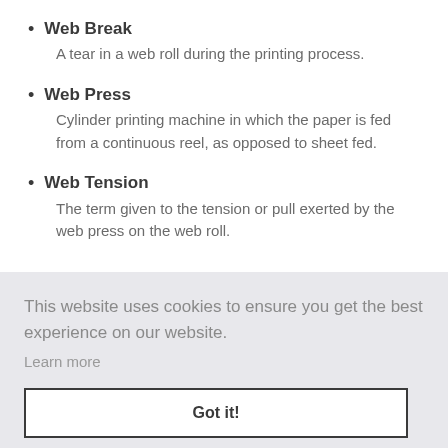Web Break
A tear in a web roll during the printing process.
Web Press
Cylinder printing machine in which the paper is fed from a continuous reel, as opposed to sheet fed.
Web Tension
The term given to the tension or pull exerted by the web press on the web roll.
This website uses cookies to ensure you get the best experience on our website.
Learn more
Got it!
Widow